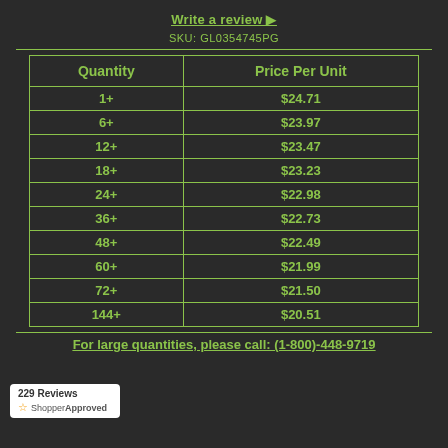Write a review ▶
SKU: GL0354745PG
| Quantity | Price Per Unit |
| --- | --- |
| 1+ | $24.71 |
| 6+ | $23.97 |
| 12+ | $23.47 |
| 18+ | $23.23 |
| 24+ | $22.98 |
| 36+ | $22.73 |
| 48+ | $22.49 |
| 60+ | $21.99 |
| 72+ | $21.50 |
| 144+ | $20.51 |
For large quantities, please call: (1-800)-448-9719